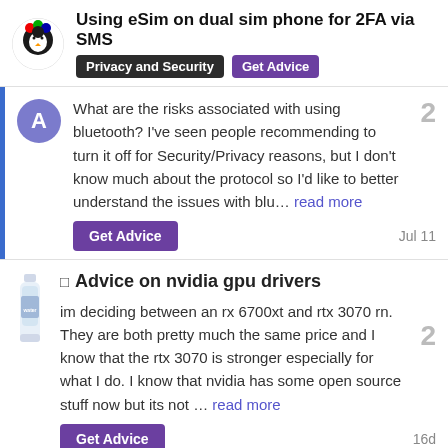Using eSim on dual sim phone for 2FA via SMS | Privacy and Security | Get Advice
What are the risks associated with using bluetooth? I've seen people recommending to turn it off for Security/Privacy reasons, but I don't know much about the protocol so I'd like to better understand the issues with blu… read more
Get Advice  Jul 11
Advice on nvidia gpu drivers
im deciding between an rx 6700xt and rtx 3070 rn. They are both pretty much the same price and I know that the rtx 3070 is stronger especially for what I do. I know that nvidia has some open source stuff now but its not … read more
Get Advice  16d